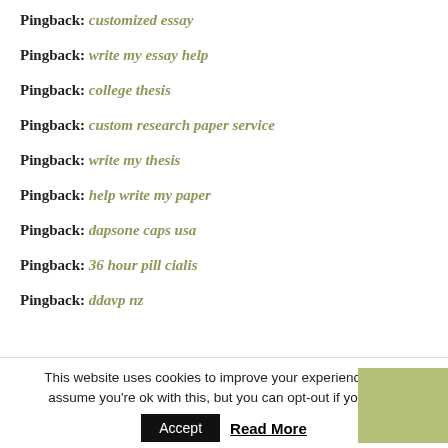Pingback: customized essay
Pingback: write my essay help
Pingback: college thesis
Pingback: custom research paper service
Pingback: write my thesis
Pingback: help write my paper
Pingback: dapsone caps usa
Pingback: 36 hour pill cialis
Pingback: ddavp nz
This website uses cookies to improve your experience. We'll assume you're ok with this, but you can opt-out if you wish.
Accept  Read More